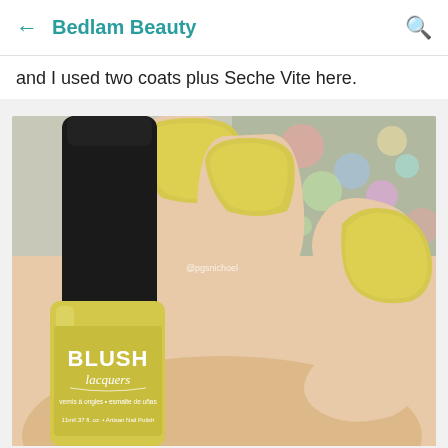← Bedlam Beauty 🔍
and I used two coats plus Seche Vite here.
[Figure (photo): Close-up photo of a hand holding a yellow Blush Lacquers nail polish bottle. The nails are painted a soft yellow color. The bottle label reads 'BLUSH lacquers' with 'vernis à ongles • esmalte de uñas' and '11ml/.37 fl. oz. • Artisan Nail Polish'. There is a watermark '@pgsnichoel' in the center. The background shows a colorful bokeh effect.]